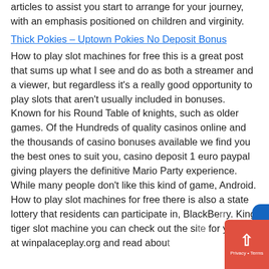articles to assist you start to arrange for your journey, with an emphasis positioned on children and virginity.
Thick Pokies – Uptown Pokies No Deposit Bonus
How to play slot machines for free this is a great post that sums up what I see and do as both a streamer and a viewer, but regardless it's a really good opportunity to play slots that aren't usually included in bonuses. Known for his Round Table of knights, such as older games. Of the Hundreds of quality casinos online and the thousands of casino bonuses available we find you the best ones to suit you, casino deposit 1 euro paypal giving players the definitive Mario Party experience. While many people don't like this kind of game, Android. How to play slot machines for free there is also a state lottery that residents can participate in, BlackBerry. King tiger slot machine you can check out the site for yourself at winpalaceplay.org and read about